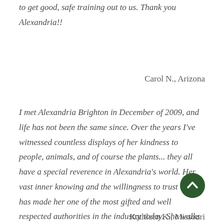to get good, safe training out to us. Thank you Alexandria!!
Carol N., Arizona
I met Alexandria Brighton in December of 2009, and life has not been the same since. Over the years I've witnessed countless displays of her kindness to people, animals, and of course the plants... they all have a special reverence in Alexandria's world. Her vast inner knowing and the willingness to trust that has made her one of the most gifted and well respected authorities in the industry today. She walks her talk.
[Figure (other): Dark green circular scroll-to-top button with upward chevron arrow]
Kathleen K., Missouri